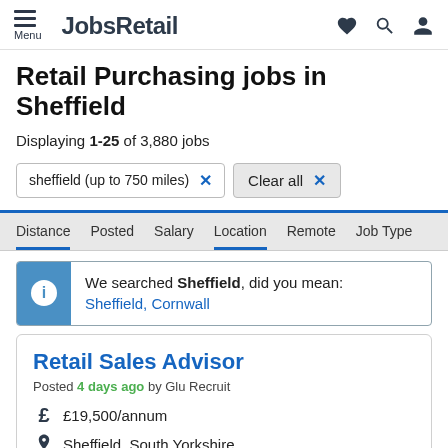Menu | JobsRetail
Retail Purchasing jobs in Sheffield
Displaying 1-25 of 3,880 jobs
sheffield (up to 750 miles) × | Clear all ×
Distance | Posted | Salary | Location | Remote | Job Type
We searched Sheffield, did you mean: Sheffield, Cornwall
Retail Sales Advisor
Posted 4 days ago by Glu Recruit
£19,500/annum
Sheffield, South Yorkshire